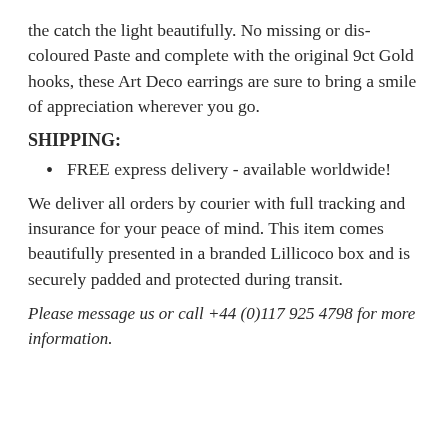the catch the light beautifully. No missing or dis-coloured Paste and complete with the original 9ct Gold hooks, these Art Deco earrings are sure to bring a smile of appreciation wherever you go.
SHIPPING:
FREE express delivery - available worldwide!
We deliver all orders by courier with full tracking and insurance for your peace of mind. This item comes beautifully presented in a branded Lillicoco box and is securely padded and protected during transit.
Please message us or call +44 (0)117 925 4798 for more information.